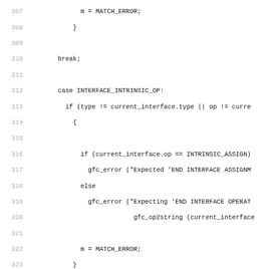Source code listing, lines 307-338, C language code involving interface matching logic